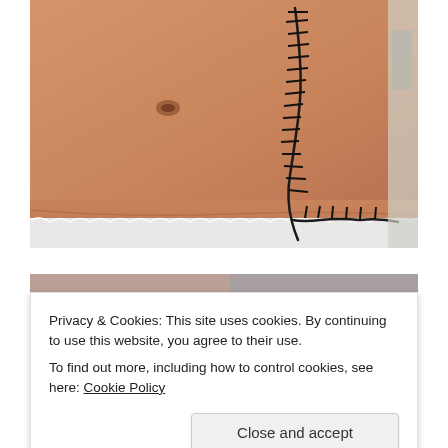[Figure (photo): Clinical photograph of a patient's abdomen showing a large surgical wound with black sutures/staples forming a curved vertical incision line on the right side of the abdomen, with a visible navel (umbilicus) on the left. The lower portion shows white underwear/garment. A glimpse of a medical environment is visible on the right edge.]
[Figure (photo): Partial view of a second photo visible behind the cookie consent banner — appears to show a person's face/head area.]
Privacy & Cookies: This site uses cookies. By continuing to use this website, you agree to their use.
To find out more, including how to control cookies, see here: Cookie Policy
[Figure (screenshot): Partial bottom strip showing thumbnails of additional images on the page.]